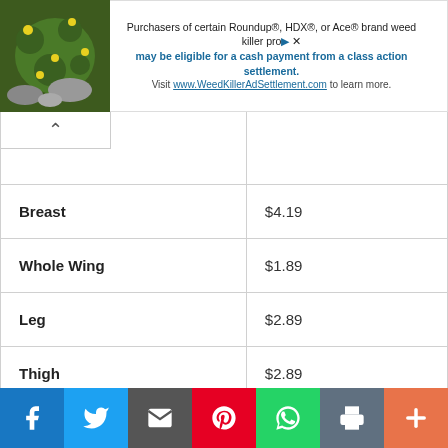[Figure (screenshot): Advertisement banner for Roundup/HDX/Ace brand weed killer class action settlement with plant image on left]
| Item | Price |
| --- | --- |
| Breast | $4.19 |
| Whole Wing | $1.89 |
| Leg | $2.89 |
| Thigh | $2.89 |
| Ribs & Pork Chops |  |
| Ribs Snack | 4 Bones – $11.99 |
Social share buttons: Facebook, Twitter, Email, Pinterest, WhatsApp, Print, More